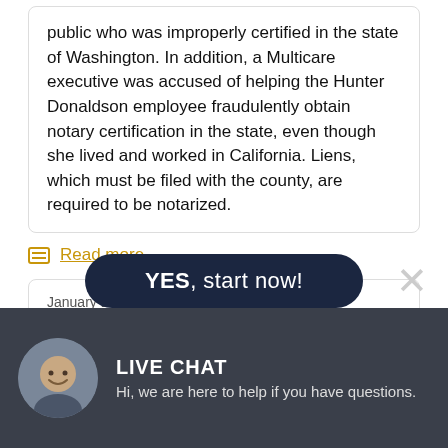public who was improperly certified in the state of Washington. In addition, a Multicare executive was accused of helping the Hunter Donaldson employee fraudulently obtain notary certification in the state, even though she lived and worked in California. Liens, which must be filed with the county, are required to be notarized.
Read more
January 15, 2016
Seattle Archdiocese Publishes List of 77 Individuals Subject to Allegations of Child Abuse
YES, start now!
LIVE CHAT
Hi, we are here to help if you have questions.